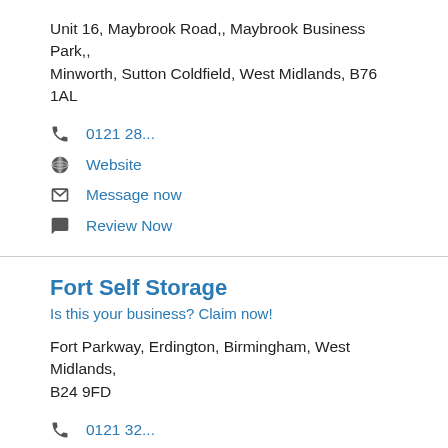Unit 16, Maybrook Road,, Maybrook Business Park,, Minworth, Sutton Coldfield, West Midlands, B76 1AL
0121 28...
Website
Message now
Review Now
Fort Self Storage
Is this your business? Claim now!
Fort Parkway, Erdington, Birmingham, West Midlands, B24 9FD
0121 32...
Website
Message now
Review Now